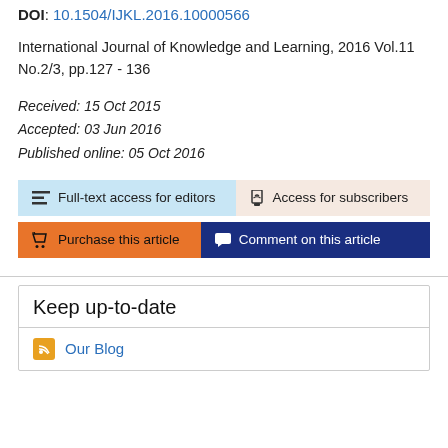DOI: 10.1504/IJKL.2016.10000566
International Journal of Knowledge and Learning, 2016 Vol.11 No.2/3, pp.127 - 136
Received: 15 Oct 2015
Accepted: 03 Jun 2016
Published online: 05 Oct 2016
Full-text access for editors
Access for subscribers
Purchase this article
Comment on this article
Keep up-to-date
Our Blog